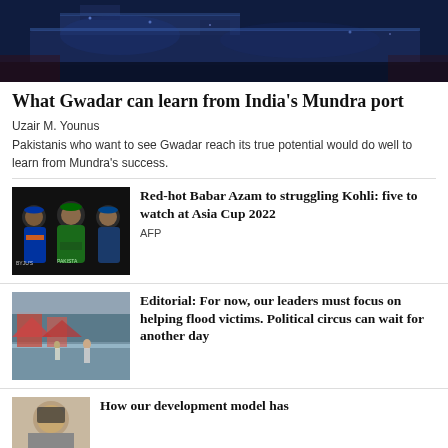[Figure (photo): Dark blue-toned image of a large ship/port at night]
What Gwadar can learn from India's Mundra port
Uzair M. Younus
Pakistanis who want to see Gwadar reach its true potential would do well to learn from Mundra's success.
[Figure (photo): Cricket players including Babar Azam and Virat Kohli]
Red-hot Babar Azam to struggling Kohli: five to watch at Asia Cup 2022
AFP
[Figure (photo): Flood scene with people and tents in floodwater]
Editorial: For now, our leaders must focus on helping flood victims. Political circus can wait for another day
[Figure (photo): Portrait photo partially visible]
How our development model has